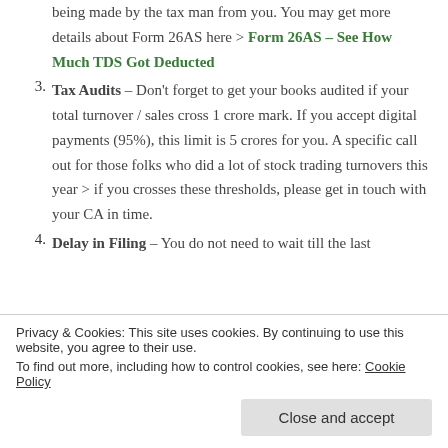being made by the tax man from you. You may get more details about Form 26AS here > Form 26AS – See How Much TDS Got Deducted
3. Tax Audits – Don't forget to get your books audited if your total turnover / sales cross 1 crore mark. If you accept digital payments (95%), this limit is 5 crores for you. A specific call out for those folks who did a lot of stock trading turnovers this year > if you crosses these thresholds, please get in touch with your CA in time.
4. Delay in Filing – You do not need to wait till the last
Privacy & Cookies: This site uses cookies. By continuing to use this website, you agree to their use.
To find out more, including how to control cookies, see here: Cookie Policy
cost financial penalties of upto Rs. 10,000 and also